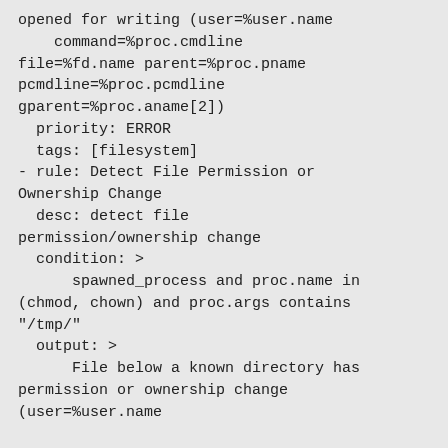opened for writing (user=%user.name
    command=%proc.cmdline
file=%fd.name parent=%proc.pname
pcmdline=%proc.pcmdline
gparent=%proc.aname[2])
  priority: ERROR
  tags: [filesystem]
- rule: Detect File Permission or Ownership Change
  desc: detect file permission/ownership change
  condition: >
      spawned_process and proc.name in (chmod, chown) and proc.args contains "/tmp/"
  output: >
      File below a known directory has permission or ownership change
      (user=%user.name